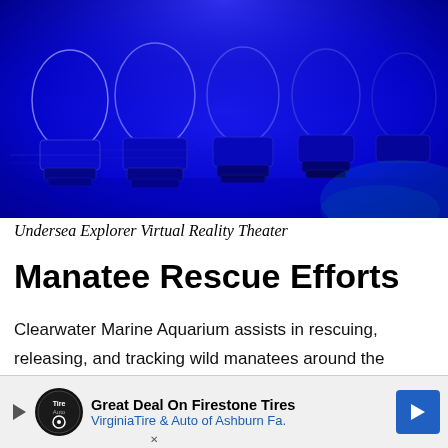[Figure (photo): Rows of blue-lit pod-style VR seats in a dark theater environment, illuminated in deep blue light with glowing curved backrests.]
Undersea Explorer Virtual Reality Theater
Manatee Rescue Efforts
Clearwater Marine Aquarium assists in rescuing, releasing, and tracking wild manatees around the world. They are currently building Manatee Springs, a new manatee rehabilitation facility with state-of-the-art pools to help wild manatees.
[Figure (other): Advertisement banner for Virginia Tire & Auto of Ashburn Fa. featuring Great Deal On Firestone Tires with logo and blue arrow button.]